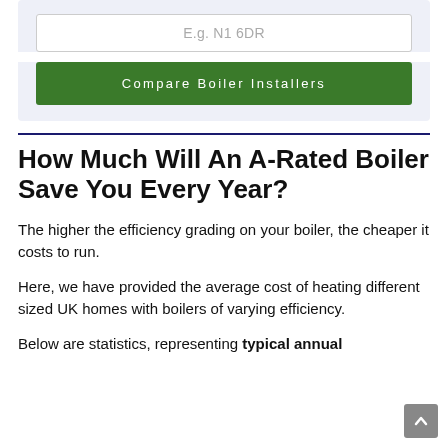E.g. N1 6DR
Compare Boiler Installers
How Much Will An A-Rated Boiler Save You Every Year?
The higher the efficiency grading on your boiler, the cheaper it costs to run.
Here, we have provided the average cost of heating different sized UK homes with boilers of varying efficiency.
Below are statistics, representing typical annual